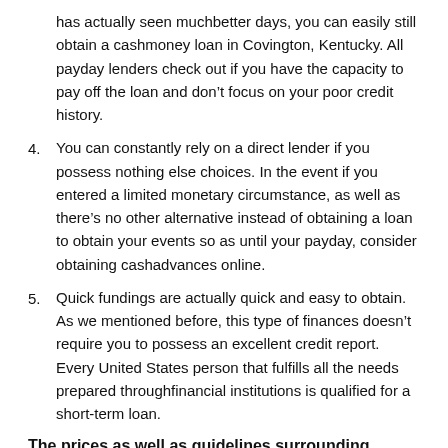has actually seen muchbetter days, you can easily still obtain a cashmoney loan in Covington, Kentucky. All payday lenders check out if you have the capacity to pay off the loan and don't focus on your poor credit history.
4. You can constantly rely on a direct lender if you possess nothing else choices. In the event if you entered a limited monetary circumstance, as well as there's no other alternative instead of obtaining a loan to obtain your events so as until your payday, consider obtaining cashadvances online.
5. Quick fundings are actually quick and easy to obtain. As we mentioned before, this type of finances doesn't require you to possess an excellent credit report. Every United States person that fulfills all the needs prepared throughfinancial institutions is qualified for a short-term loan.
The prices as well as guidelines surrounding